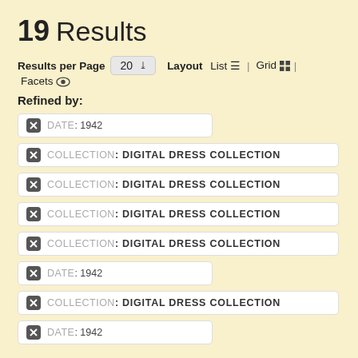19 Results
Results per Page 20 ▾  Layout  List ≡ | Grid ⊞ | Facets 👁
Refined by:
✕ DATE: 1942
✕ COLLECTION: DIGITAL DRESS COLLECTION
✕ COLLECTION: DIGITAL DRESS COLLECTION
✕ COLLECTION: DIGITAL DRESS COLLECTION
✕ COLLECTION: DIGITAL DRESS COLLECTION
✕ DATE: 1942
✕ COLLECTION: DIGITAL DRESS COLLECTION
✕ DATE: 1942